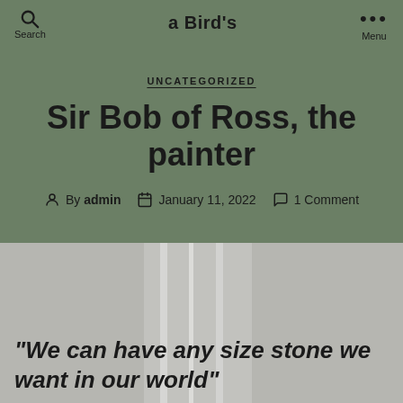a Bird's
UNCATEGORIZED
Sir Bob of Ross, the painter
By admin  January 11, 2022  1 Comment
[Figure (photo): Gray road or pavement with vertical white line markings, textured surface]
“We can have any size stone we want in our world”